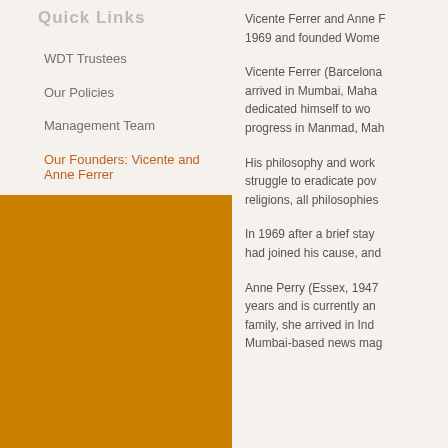Quick Links
WDT Trustees
Our Policies
Management Team
Our Founders: Vicente and Anne Ferrer
Vicente Ferrer and Anne F... 1969 and founded Wome...
Vicente Ferrer (Barcelona... arrived in Mumbai, Maha... dedicated himself to wo... progress in Manmad, Mah...
His philosophy and work... struggle to eradicate pov... religions, all philosophies...
In 1969 after a brief stay... had joined his cause, and...
Anne Perry (Essex, 1947... years and is currently an... family, she arrived in Ind... Mumbai-based news mag...